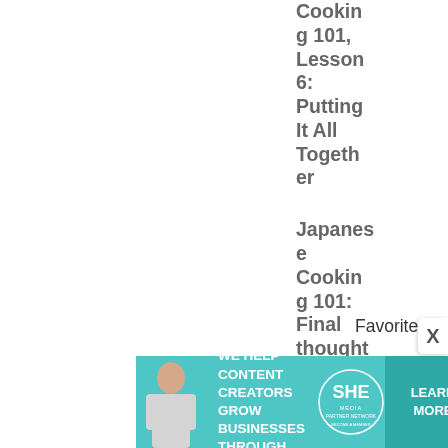Cooking 101, Lesson 6: Putting It All Together
Japanese Cooking 101: Final thoughts, or what was the point?
Favorite everyday go-to dishes
Japanese grocery store list
The Japanese Food and Cooking Lexicon
[Figure (photo): Advertisement banner: SHE Media Partner Network - 'We help content creators grow businesses through...' with Learn More button]